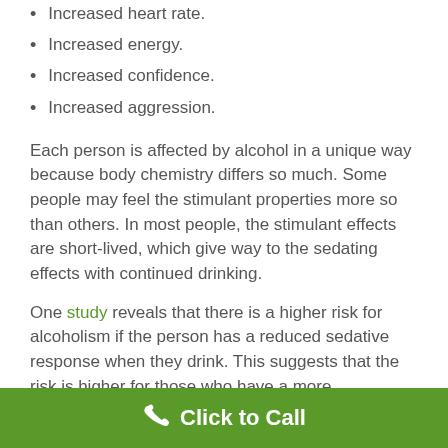Increased heart rate.
Increased energy.
Increased confidence.
Increased aggression.
Each person is affected by alcohol in a unique way because body chemistry differs so much. Some people may feel the stimulant properties more so than others. In most people, the stimulant effects are short-lived, which give way to the sedating effects with continued drinking.
One study reveals that there is a higher risk for alcoholism if the person has a reduced sedative response when they drink. This suggests that the risk is higher for those who have a more pronounced
Click to Call